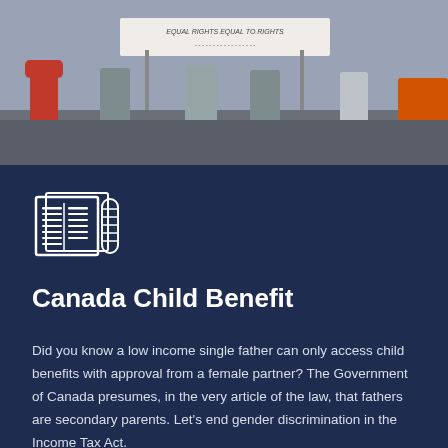[Figure (photo): Photo of people at a protest or demonstration, holding a sign. The figures are partially visible from the waist down, standing on pavement.]
[Figure (illustration): Newspaper/document icon rendered as line art in white on dark navy background.]
Canada Child Benefit
Did you know a low income single father can only access child benefits with approval from a female partner? The Government of Canada presumes, in the very article of the law, that fathers are secondary parents. Let's end gender discrimination in the Income Tax Act.